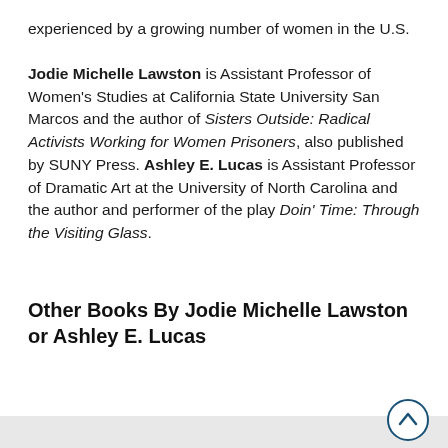experienced by a growing number of women in the U.S.
Jodie Michelle Lawston is Assistant Professor of Women's Studies at California State University San Marcos and the author of Sisters Outside: Radical Activists Working for Women Prisoners, also published by SUNY Press. Ashley E. Lucas is Assistant Professor of Dramatic Art at the University of North Carolina and the author and performer of the play Doin' Time: Through the Visiting Glass.
Other Books By Jodie Michelle Lawston or Ashley E. Lucas